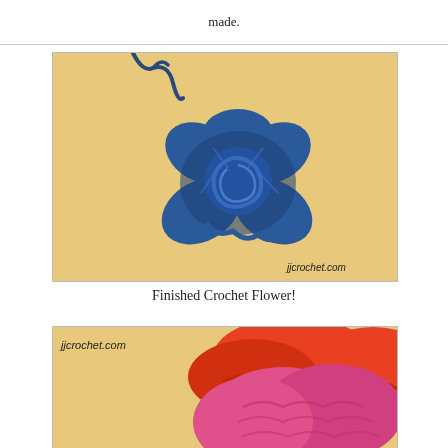made.
[Figure (photo): A blue crocheted flower on a tan/beige background, with a trailing yarn tail at the top. Watermark reads jjcrochet.com in the lower right.]
Finished Crochet Flower!
[Figure (photo): Partial view of an orange and pink crocheted flower on a tan/beige background. Watermark reads jjcrochet.com in the upper left.]